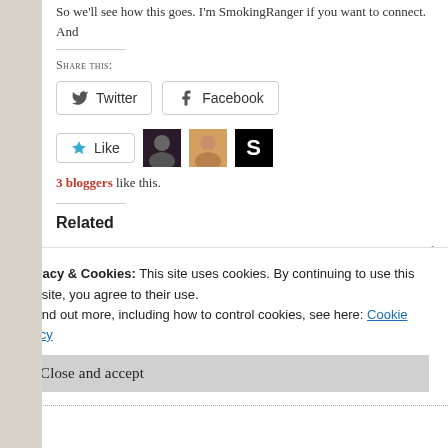So we'll see how this goes. I'm SmokingRanger if you want to connect. And
Share this:
Twitter  Facebook
Like  [avatars]  3 bloggers like this.
Related
Inktober Day 1
October 1, 2014
In "art"
Spoon Full of
April 10, 2014
In "home pag
Privacy & Cookies: This site uses cookies. By continuing to use this website, you agree to their use.
To find out more, including how to control cookies, see here: Cookie Policy
Close and accept